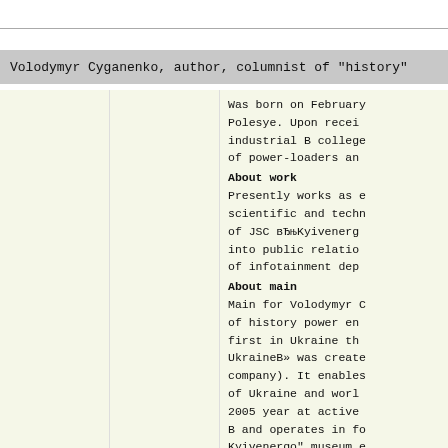Volodymyr Cyganenko, author, columnist of "history"
[Figure (other): Light yellow-green left panel area (two sub-columns) beside text content]
About work
Was born on February Polesye. Upon recei industrial B college of power-loaders an
Presently works as e scientific and tech of JSC вЂњKyivenerg into public relatio of infotainment dep
About main
Main for Volodymyr of history power en first in Ukraine th UkraineB» was creat company). It enable of Ukraine and wor 2005 year at active B and operates in f Kyivenergo" museum e history from D